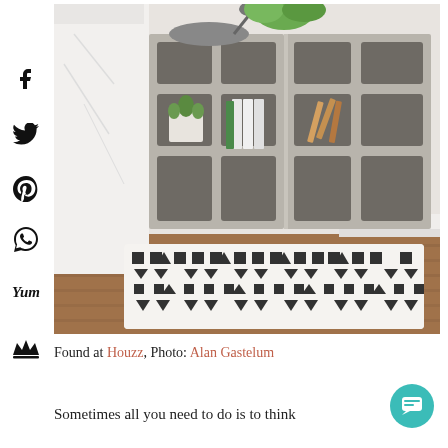[Figure (photo): A DIY cinder block nightstand/bookshelf beside a bed, with a succulent plant, books stacked inside the block holes, a lamp on top, and a black and white geometric rug on hardwood floor below.]
Facebook share icon
Twitter share icon
Pinterest share icon, 6
WhatsApp share icon
Yummly share icon
Email/newsletter subscribe icon
Found at Houzz, Photo: Alan Gastelum
Sometimes all you need to do is to think